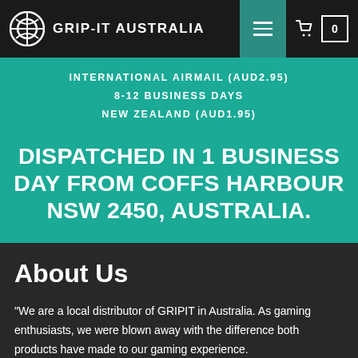GRIP-IT AUSTRALIA
INTERNATIONAL AIRMAIL (AUD2.95)
8-12 BUSINESS DAYS
NEW ZEALAND (AUD1.95)
DISPATCHED IN 1 BUSINESS DAY FROM COFFS HARBOUR NSW 2450, AUSTRALIA.
About Us
"We are a local distributor of GRIPIT in Australia. As gaming enthusiasts, we were blown away with the difference both products have made to our gaming experience.
We work hard to fulfill orders across Australia and many